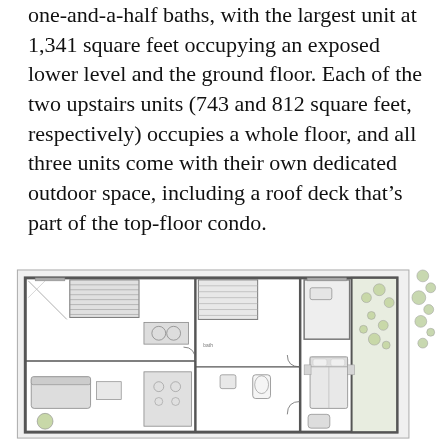one-and-a-half baths, with the largest unit at 1,341 square feet occupying an exposed lower level and the ground floor. Each of the two upstairs units (743 and 812 square feet, respectively) occupies a whole floor, and all three units come with their own dedicated outdoor space, including a roof deck that's part of the top-floor condo.
[Figure (engineering-diagram): Architectural floor plan drawing showing a rectangular multi-unit residential building layout. The plan shows three main zones: a large left section with living/kitchen area, a middle section with bathroom and stairs, and a right section with bedroom and outdoor terrace. Various furniture elements, fixtures, and architectural details are shown in a typical architectural line drawing style.]